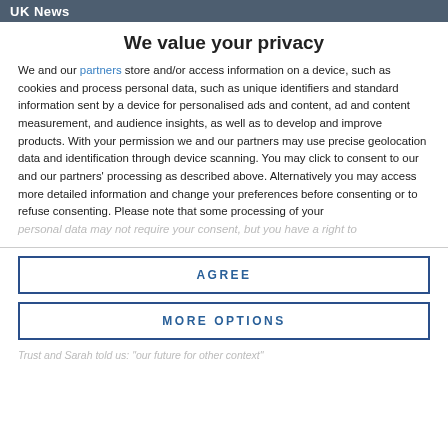UK News
We value your privacy
We and our partners store and/or access information on a device, such as cookies and process personal data, such as unique identifiers and standard information sent by a device for personalised ads and content, ad and content measurement, and audience insights, as well as to develop and improve products. With your permission we and our partners may use precise geolocation data and identification through device scanning. You may click to consent to our and our partners' processing as described above. Alternatively you may access more detailed information and change your preferences before consenting or to refuse consenting. Please note that some processing of your personal data may not require your consent, but you have a right to
AGREE
MORE OPTIONS
Trust and Sarah told us: "our future for other context"